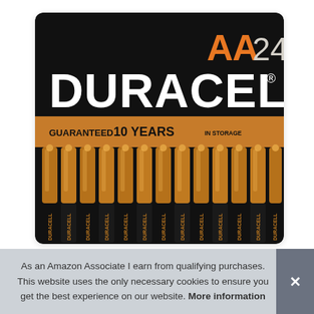[Figure (photo): Duracell AA 24-pack battery product packaging on black background with copper/orange battery images and text: 'AA 24', 'DURACELL', 'GUARANTEED 10 YEARS IN STORAGE', with rows of copper-top AA batteries shown]
As an Amazon Associate I earn from qualifying purchases. This website uses the only necessary cookies to ensure you get the best experience on our website. More information